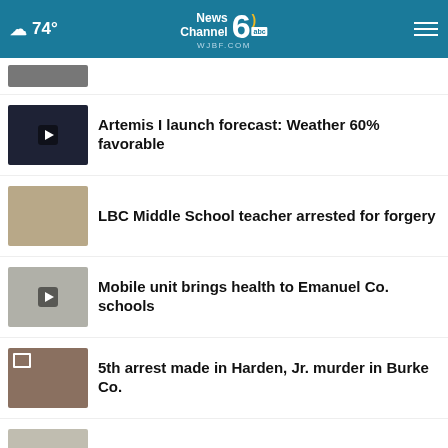74° | News Channel 6 WJBF.COM abc
Artemis I launch forecast: Weather 60% favorable
LBC Middle School teacher arrested for forgery
Mobile unit brings health to Emanuel Co. schools
5th arrest made in Harden, Jr. murder in Burke Co.
The Turtle prompts deep dive in Warrenton
[Figure (screenshot): Benjamin Franklin The Practical Plumber advertisement with CLICK TO PRINT COUPON button]